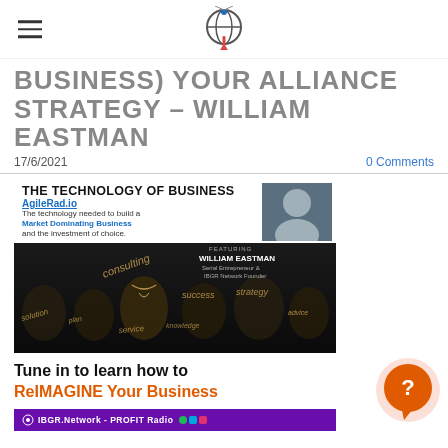[IBGR Network logo and hamburger menu]
BUSINESS) YOUR ALLIANCE STRATEGY - WILLIAM EASTMAN
17/6/2021    0 Comments
[Figure (infographic): The Technology of Business promotional image featuring AgileRad.io branding, William Eastman photo, and light bulb imagery with business words]
Tune in to learn how to ReIMAGINE Your Business
[Figure (infographic): IBGR.Network - PROFIT Radio purple banner with podcast icons]